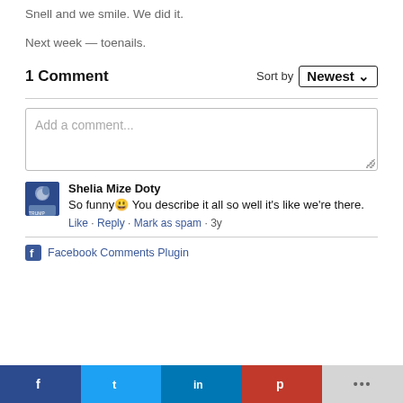Snell and we smile. We did it.
Next week — toenails.
1 Comment
Sort by Newest
Add a comment...
Shelia Mize Doty
So funny😀 You describe it all so well it's like we're there.
Like · Reply · Mark as spam · 3y
Facebook Comments Plugin